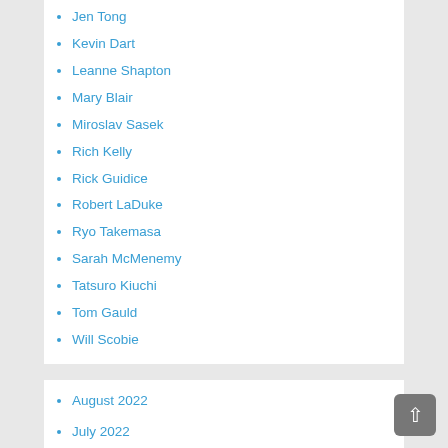Jen Tong
Kevin Dart
Leanne Shapton
Mary Blair
Miroslav Sasek
Rich Kelly
Rick Guidice
Robert LaDuke
Ryo Takemasa
Sarah McMenemy
Tatsuro Kiuchi
Tom Gauld
Will Scobie
August 2022
July 2022
June 2022
May 2022
April 2022